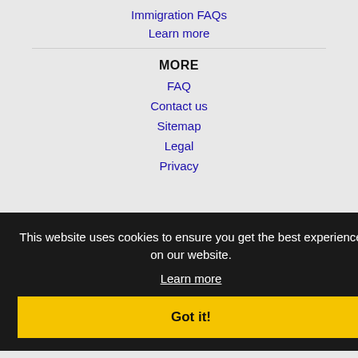Immigration FAQs
Learn more
MORE
FAQ
Contact us
Sitemap
Legal
Privacy
This website uses cookies to ensure you get the best experience on our website.
Learn more
Got it!
Alhambra, CA Jobs
Aliso Viejo, CA Jobs
Anaheim, CA Jobs
Arcadia, CA Jobs
Azusa, CA Jobs
Baldwin Park, CA Jobs